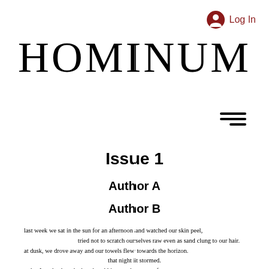Log In
HOMINUM
Issue 1
Author A
Author B
last week we sat in the sun for an afternoon and watched our skin peel,
        tried not to scratch ourselves raw even as sand clung to our hair.
at dusk, we drove away and our towels flew towards the horizon.
                that night it stormed.
today I am back at the beach, rubbing sand onto my forearms